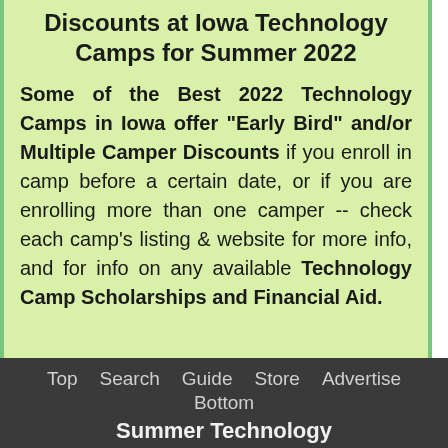Discounts at Iowa Technology Camps for Summer 2022
Some of the Best 2022 Technology Camps in Iowa offer "Early Bird" and/or Multiple Camper Discounts if you enroll in camp before a certain date, or if you are enrolling more than one camper -- check each camp's listing & website for more info, and for info on any available Technology Camp Scholarships and Financial Aid.
Top  Search  Guide  Store  Advertise  Bottom  Summer Technology